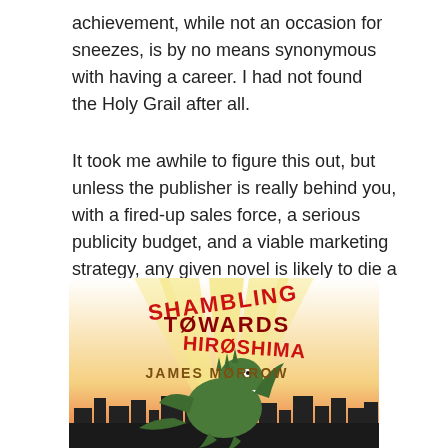achievement, while not an occasion for sneezes, is by no means synonymous with having a career. I had not found the Holy Grail after all.
It took me awhile to figure this out, but unless the publisher is really behind you, with a fired-up sales force, a serious publicity budget, and a viable marketing strategy, any given novel is likely to die a dog's death at the box office.
[Figure (illustration): Book cover for 'Shambling Towards Hiroshima' by James Morrow, showing a monster silhouette against searchlight beams over a city skyline, with the title in stylized red and dark red lettering and the author's name in brown/tan lettering.]